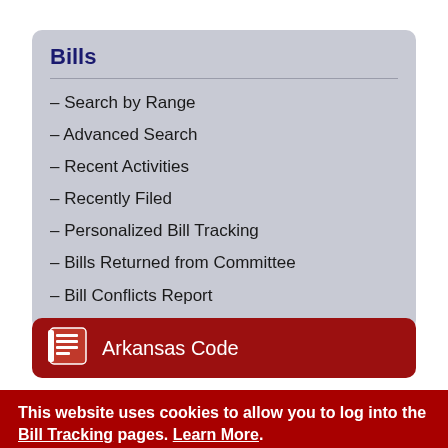Bills
– Search by Range
– Advanced Search
– Recent Activities
– Recently Filed
– Personalized Bill Tracking
– Bills Returned from Committee
– Bill Conflicts Report
Arkansas Code
This website uses cookies to allow you to log into the Bill Tracking pages. Learn More.
ACCEPT